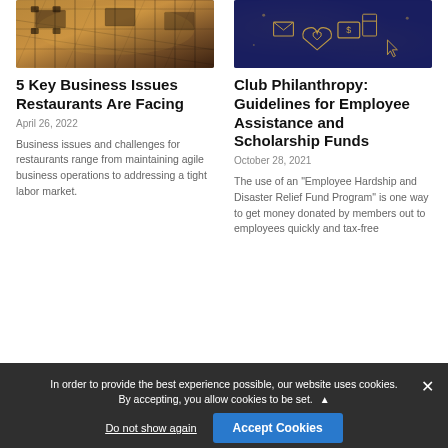[Figure (photo): Restaurant interior with tables and chairs on a wooden floor, warm amber lighting]
5 Key Business Issues Restaurants Are Facing
April 26, 2022
Business issues and challenges for restaurants range from maintaining agile business operations to addressing a tight labor market.
[Figure (illustration): Dark blue background with golden outlined icons of hands, hearts, money, medical cross, and communication symbols]
Club Philanthropy: Guidelines for Employee Assistance and Scholarship Funds
October 28, 2021
The use of an "Employee Hardship and Disaster Relief Fund Program" is one way to get money donated by members out to employees quickly and tax-free
In order to provide the best experience possible, our website uses cookies. By accepting, you allow cookies to be set.
Do not show again
Accept Cookies